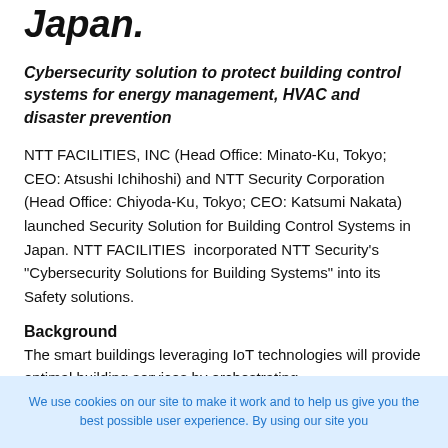Japan.
Cybersecurity solution to protect building control systems for energy management, HVAC and disaster prevention
NTT FACILITIES, INC (Head Office: Minato-Ku, Tokyo; CEO: Atsushi Ichihoshi) and NTT Security Corporation (Head Office: Chiyoda-Ku, Tokyo; CEO: Katsumi Nakata) launched Security Solution for Building Control Systems in Japan. NTT FACILITIES incorporated NTT Security's "Cybersecurity Solutions for Building Systems" into its Safety solutions.
Background
The smart buildings leveraging IoT technologies will provide optimal building services by orchestrating
We use cookies on our site to make it work and to help us give you the best possible user experience. By using our site you